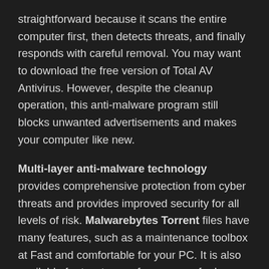straightforward because it scans the entire computer first, then detects threats, and finally responds with careful removal. You may want to download the free version of Total AV Antivirus. However, despite the cleanup operation, this anti-malware program still blocks unwanted advertisements and makes your computer like new.
Multi-layer anti-malware technology provides comprehensive protection from cyber threats and provides improved security for all levels of risk. Malwarebytes Torrent files have many features, such as a maintenance toolbox at Fast and comfortable for your PC. It is also available for two types of users, one for home and one for business. You can download the premium version for both purposes.